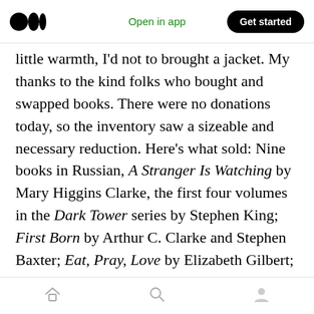Medium app header with logo, Open in app, Get started button
little warmth, I'd not to brought a jacket. My thanks to the kind folks who bought and swapped books. There were no donations today, so the inventory saw a sizeable and necessary reduction. Here's what sold: Nine books in Russian, A Stranger Is Watching by Mary Higgins Clarke, the first four volumes in the Dark Tower series by Stephen King; First Born by Arthur C. Clarke and Stephen Baxter; Eat, Pray, Love by Elizabeth Gilbert; All the Luck: Poems Celebrating Love, Life, and the Enduring Human Spirit by Sydney Eddison; The Art of Speed Reading People:
Bottom navigation bar with home, search, and profile icons